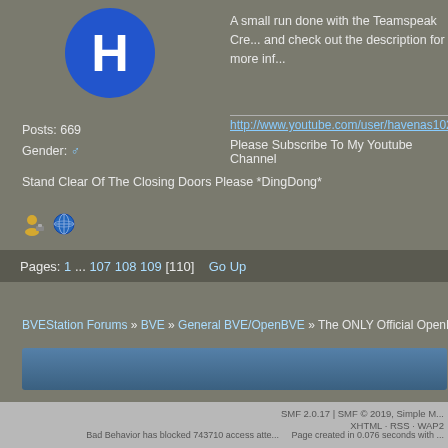[Figure (illustration): Blue circle avatar with white letter H]
A small run done with the Teamspeak Cre... and check out the description for more inf...
Posts: 669
Gender: [male icon]
Stand Clear Of The Closing Doors Please *DingDong*
[Figure (illustration): Small person icon and globe icon]
http://www.youtube.com/user/havenas1020yt
Please Subscribe To My Youtube Channel
Pages: 1 ... 107 108 109 [110]   Go Up
BVEStation Forums » BVE » General BVE/OpenBVE » The ONLY Official OpenBVE Sca...
SMF 2.0.17 | SMF © 2019, Simple M...
XHTML · RSS · WAP2
Bad Behavior has blocked 743710 access atte...
Page created in 0.076 seconds with ...